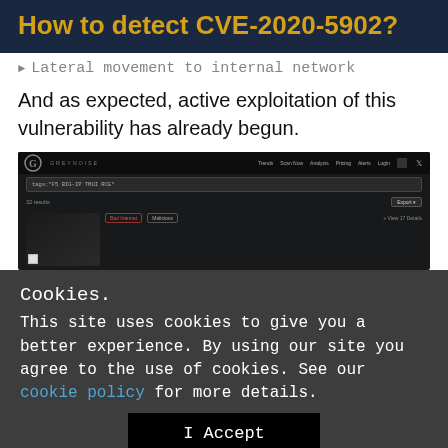How to detect CVE-2020-5902?
Lateral movement to internal network
And as expected, active exploitation of this vulnerability has already begun.
[Figure (screenshot): Screenshot of GreyNoise intelligence platform showing search results for CVE-2020-5902 related tags, with a cookie consent overlay partially covering the bottom of the screenshot.]
Cookies.
This site uses cookies to give you a better experience. By using our site you agree to the use of cookies. See our cookie policy for more details.
I Accept